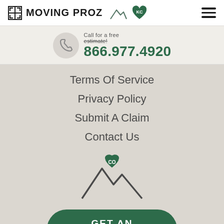MOVING PROZ
Call for a free estimate!
866.977.4920
Terms Of Service
Privacy Policy
Submit A Claim
Contact Us
[Figure (logo): Moving Proz CO mountain logo with heart]
GET AN ESTIMATE